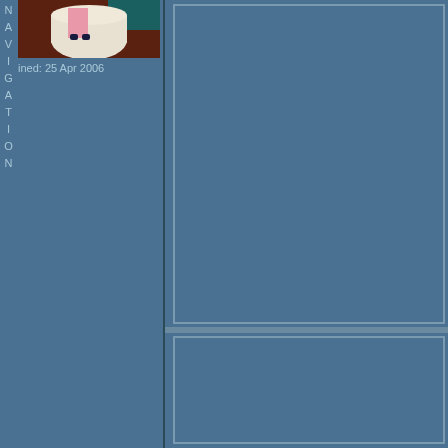[Figure (screenshot): Website/forum page fragment showing a left sidebar with vertical NAVIGATION text, a small thumbnail photo of a painted artwork (figure on white vase/pot on dark red background), a joined date text, and right panel with two content boxes on a steel blue background.]
ined: 25 Apr 2006